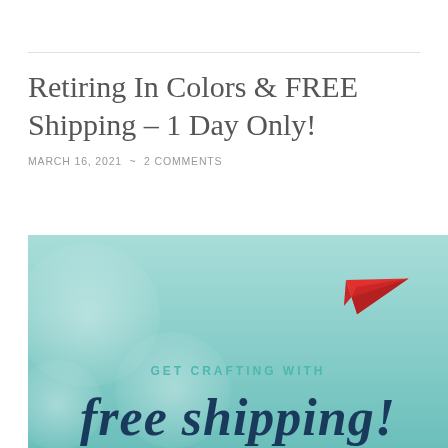Retiring In Colors & FREE Shipping – 1 Day Only!
MARCH 16, 2021  ~  2 COMMENTS
[Figure (illustration): Promotional banner with a light teal/mint background featuring translucent white circles, a red paper airplane in the upper right, text reading 'GET CRAFTING WITH' in teal uppercase letters, and large decorative script text 'free shipping!' in dark navy blue at the bottom.]